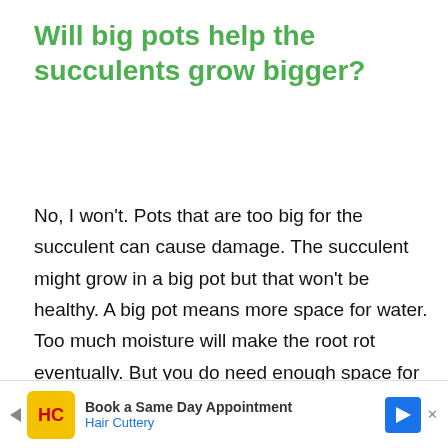Will big pots help the succulents grow bigger?
No, I won't. Pots that are too big for the succulent can cause damage. The succulent might grow in a big pot but that won't be healthy. A big pot means more space for water. Too much moisture will make the root rot eventually. But you do need enough space for the roots to thrive but not more than it needs.
Succulent are beautiful plants. Even though they
[Figure (screenshot): Advertisement banner for Hair Cuttery: Book a Same Day Appointment, showing Hair Cuttery logo on yellow background and a blue navigation arrow icon.]